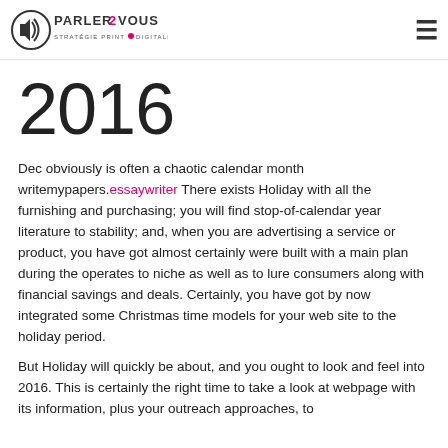PARLER2VOUS — STRATÉGIE PRINT & DIGITALE
2016
Dec obviously is often a chaotic calendar month writemypapers.essaywriter There exists Holiday with all the furnishing and purchasing; you will find stop-of-calendar year literature to stability; and, when you are advertising a service or product, you have got almost certainly were built with a main plan during the operates to niche as well as to lure consumers along with financial savings and deals. Certainly, you have got by now integrated some Christmas time models for your web site to the holiday period.
But Holiday will quickly be about, and you ought to look and feel into 2016. This is certainly the right time to take a look at webpage with its information, plus your outreach approaches, to